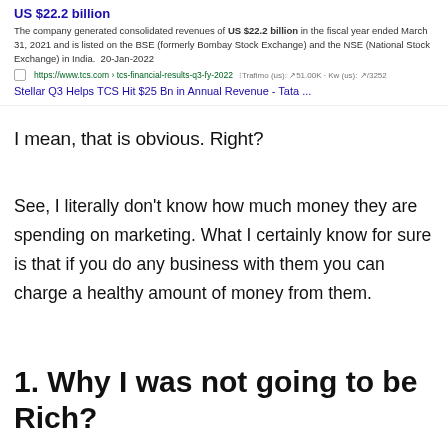[Figure (screenshot): Search engine snippet showing TCS financial results page with URL, traffic data, and link titled 'Stellar Q3 Helps TCS Hit $25 Bn in Annual Revenue - Tata ...']
I mean, that is obvious. Right?
See, I literally don't know how much money they are spending on marketing. What I certainly know for sure is that if you do any business with them you can charge a healthy amount of money from them.
1. Why I was not going to be Rich?